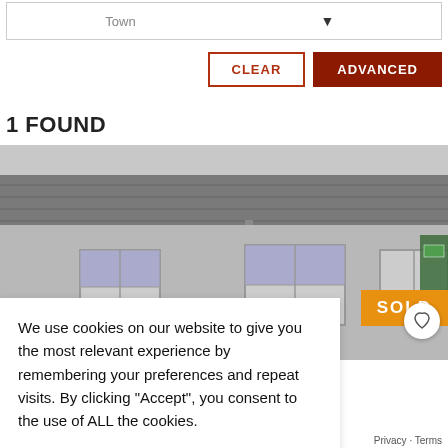Town
CLEAR
ADVANCED
1 FOUND
[Figure (photo): Exterior photo of a grey rendered building with slate roof and multiple windows, with a SOLD badge in the top right corner]
We use cookies on our website to give you the most relevant experience by remembering your preferences and repeat visits. By clicking "Accept", you consent to the use of ALL the cookies.
Cookie Settings
ACCEPT
St. Patrick's Street, Castlerea, Co.
Privacy · Terms